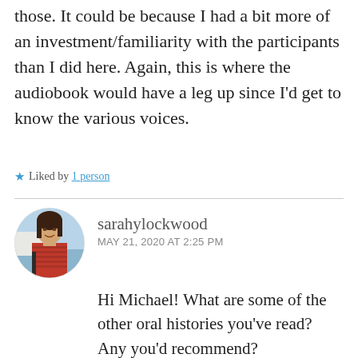those. It could be because I had a bit more of an investment/familiarity with the participants than I did here. Again, this is where the audiobook would have a leg up since I'd get to know the various voices.
★ Liked by 1 person
sarahylockwood
MAY 21, 2020 AT 2:25 PM
[Figure (photo): Circular avatar photo of a woman with dark hair wearing a red striped shirt, smiling outdoors near water]
Hi Michael! What are some of the other oral histories you've read? Any you'd recommend?